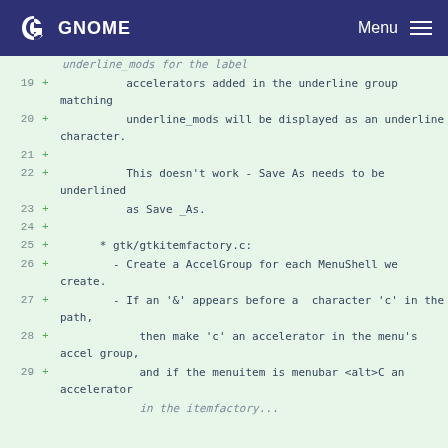GNOME  Menu
Code diff showing lines 19-29+ with additions to underline_mods and gtk/gtkitemfactory.c documentation comments